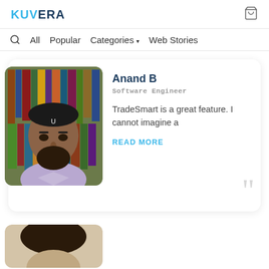KUVERA
All  Popular  Categories  Web Stories
[Figure (photo): Portrait photo of Anand B, a man with a religious mark on his forehead, wearing a light purple shirt, standing in front of a bookshelf]
Anand B
Software Engineer
TradeSmart is a great feature. I cannot imagine a
READ MORE
[Figure (photo): Partial photo of another person, visible at the bottom of the page]